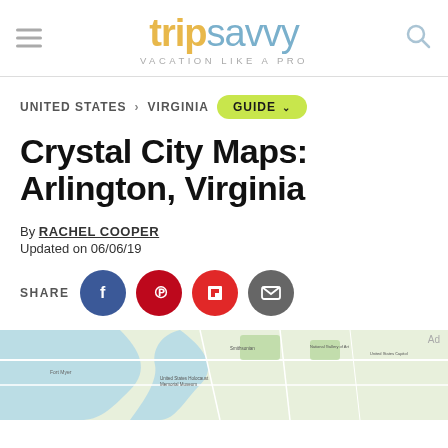tripsavvy — VACATION LIKE A PRO
UNITED STATES > VIRGINIA   GUIDE
Crystal City Maps: Arlington, Virginia
By RACHEL COOPER
Updated on 06/06/19
[Figure (infographic): Social share buttons: Facebook, Pinterest, Flipboard, Email]
[Figure (map): Partial map of Crystal City, Arlington, Virginia area showing streets and waterways]